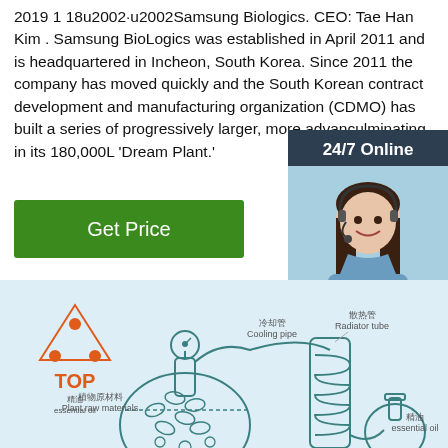2019 1 18u2002·u2002Samsung Biologics. CEO: Tae Han Kim . Samsung BioLogics was established in April 2011 and is headquartered in Incheon, South Korea. Since 2011 the company has moved quickly and the South Korean contract development and manufacturing organization (CDMO) has built a series of progressively larger, more advanced, culminating in its 180,000L 'Dream Plant.'
Get Price
[Figure (infographic): 24/7 Online chat widget with a customer service representative photo and QUOTATION button]
[Figure (engineering-diagram): Diagram of plant essential oil extraction process showing plant raw materials (植物原材料), water (水 water), cooling pipe (冷却管 Cooling pipe), radiator tube (散热管 Radiator tube), essential oil (精油 essential oil), with flask/condenser apparatus in light blue teal line art style. Also shows a TOP badge in orange.]